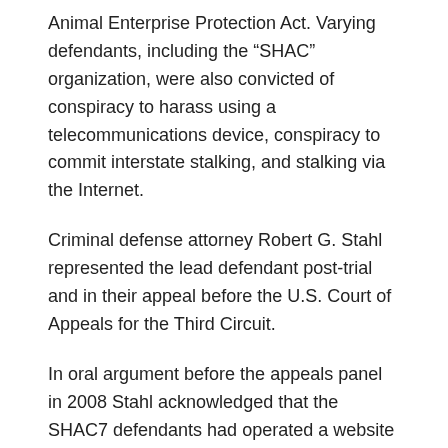Animal Enterprise Protection Act. Varying defendants, including the “SHAC” organization, were also convicted of conspiracy to harass using a telecommunications device, conspiracy to commit interstate stalking, and stalking via the Internet.
Criminal defense attorney Robert G. Stahl represented the lead defendant post-trial and in their appeal before the U.S. Court of Appeals for the Third Circuit.
In oral argument before the appeals panel in 2008 Stahl acknowledged that the SHAC7 defendants had operated a website with news and information about animal rights action, but stressed that the website did not encourage web visitors to undertake violence or any other actions against the Huntington facilities, its principals, or its employees.